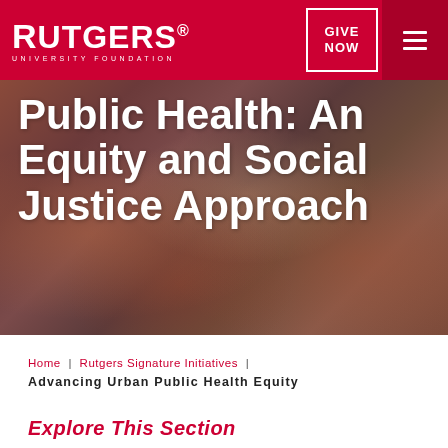RUTGERS. UNIVERSITY FOUNDATION
[Figure (photo): Photo of people in a public health or community setting, used as hero image background]
Public Health: An Equity and Social Justice Approach
Home | Rutgers Signature Initiatives | Advancing Urban Public Health Equity
Explore This Section